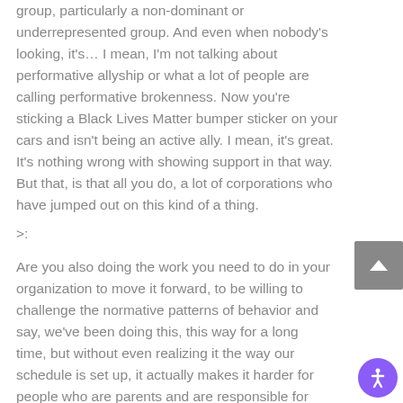group, particularly a non-dominant or underrepresented group. And even when nobody's looking, it's… I mean, I'm not talking about performative allyship or what a lot of people are calling performative brokenness. Now you're sticking a Black Lives Matter bumper sticker on your cars and isn't being an active ally. I mean, it's great. It's nothing wrong with showing support in that way. But that, is that all you do, a lot of corporations who have jumped out on this kind of a thing.
>:
Are you also doing the work you need to do in your organization to move it forward, to be willing to challenge the normative patterns of behavior and say, we've been doing this, this way for a long time, but without even realizing it the way our schedule is set up, it actually makes it harder for people who are parents and are responsible for their children, which largely means women in our culture. Right or wrong, largely that means women. For example, right now, a lot of organizations are struggling with the fact that